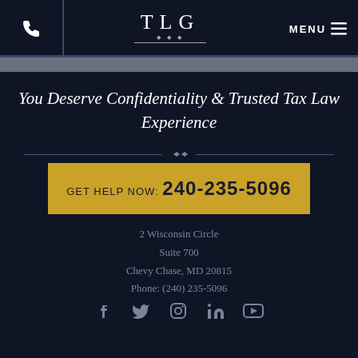[Figure (logo): TLG law firm logo with decorative elements and phone icon, menu button in header navigation bar]
You Deserve Confidentiality & Trusted Tax Law Experience
GET HELP NOW: 240-235-5096
2 Wisconsin Circle
Suite 700
Chevy Chase, MD 20815
Phone: (240) 235-5096
[Figure (infographic): Social media icons: Facebook, Twitter, Instagram, LinkedIn, YouTube]